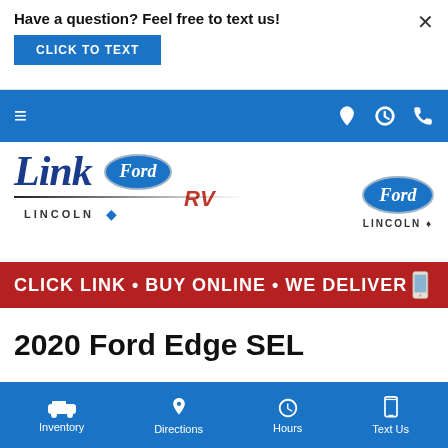Have a question? Feel free to text us!
CLICK TO TEXT
[Figure (screenshot): Blue navigation bar with hamburger menu icon on left and location pin, clock, and phone icons on right]
[Figure (logo): Link Ford Lincoln RV dealership logo on left, Ford Lincoln logo on right]
[Figure (infographic): Red banner with white bold text: CLICK LINK • BUY ONLINE • WE DELIVER with image on right side]
2020 Ford Edge SEL
[Figure (screenshot): Blue bottom navigation bar with Inventory (car icon), Directions (pin icon), Hours (clock icon), Text Us (phone icon)]